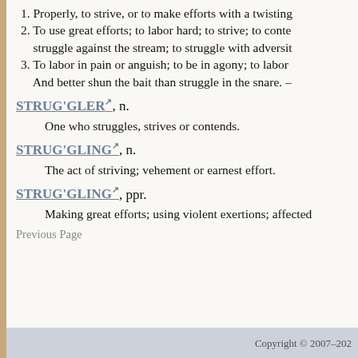1. Properly, to strive, or to make efforts with a twisting
2. To use great efforts; to labor hard; to strive; to contend; to struggle against the stream; to struggle with adversity
3. To labor in pain or anguish; to be in agony; to labor — And better shun the bait than struggle in the snare. –
STRUG'GLER, n.
One who struggles, strives or contends.
STRUG'GLING, n.
The act of striving; vehement or earnest effort.
STRUG'GLING, ppr.
Making great efforts; using violent exertions; affected
Previous Page
Copyright © 2007–202